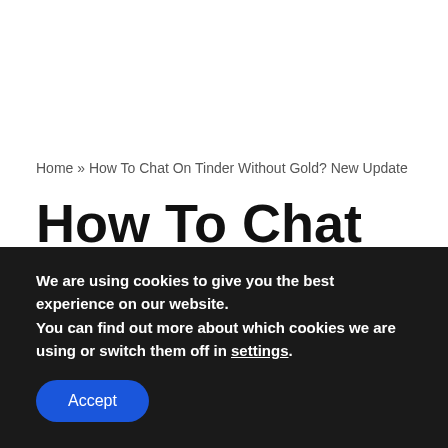Home » How To Chat On Tinder Without Gold? New Update
How To Chat On Tinder Without Gold? New
We are using cookies to give you the best experience on our website.
You can find out more about which cookies we are using or switch them off in settings.
Accept